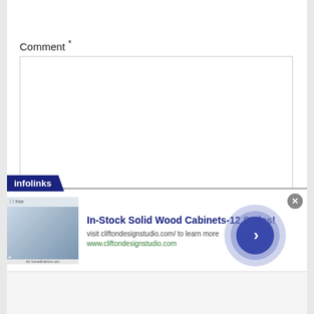Comment *
[Figure (screenshot): Empty comment text area input box with resize handle at bottom right]
[Figure (screenshot): Infolinks advertisement banner: In-Stock Solid Wood Cabinets-12 Styles! visit cliftondesignstudio.com/ to learn more, www.cliftondesignstudio.com, with kitchen cabinet image thumbnail and arrow navigation button]